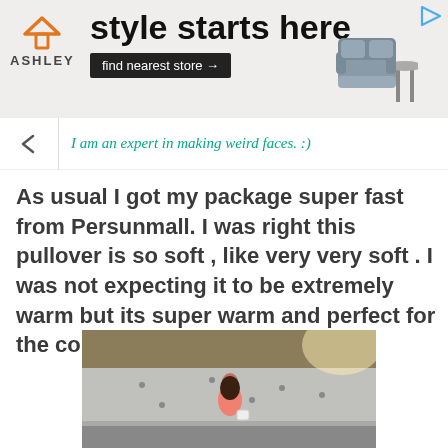[Figure (screenshot): Ashley Furniture advertisement banner: Ashley logo with orange house icon, text 'style starts here', black button 'find nearest store →', image of a grey sofa and side table. Play button icon top right.]
I am an expert in making weird faces. :)
As usual I got my package super fast from Persunmall. I was right this pullover is so soft , like very very soft . I was not expecting it to be extremely  warm but its super warm and perfect for the cold winter days.
[Figure (photo): A woman in a pink outfit standing in front of a grey concrete wall with a hillside in the background. She is holding a white bag.]